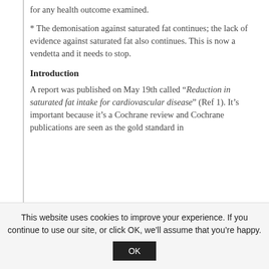for any health outcome examined.
* The demonisation against saturated fat continues; the lack of evidence against saturated fat also continues. This is now a vendetta and it needs to stop.
Introduction
A report was published on May 19th called “Reduction in saturated fat intake for cardiovascular disease” (Ref 1). It’s important because it’s a Cochrane review and Cochrane publications are seen as the gold standard in
This website uses cookies to improve your experience. If you continue to use our site, or click OK, we’ll assume that you’re happy.